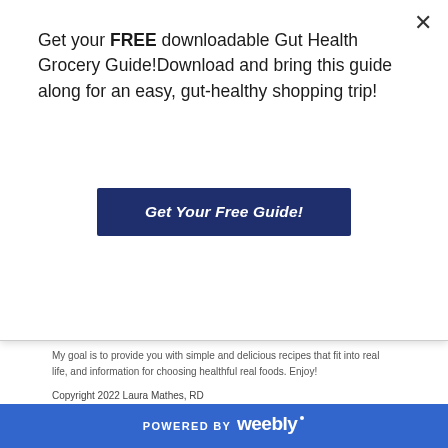Get your FREE downloadable Gut Health Grocery Guide!Download and bring this guide along for an easy, gut-healthy shopping trip!
[Figure (other): Dark navy blue button labeled 'Get Your Free Guide!' in bold italic white text]
My goal is to provide you with simple and delicious recipes that fit into real life, and information for choosing healthful real foods. Enjoy!
Copyright 2022 Laura Mathes, RD
All rights reserved.
See "About" for Terms and Conditions.
Archives
October 2021
September 2021
August 2021
July 2021
May 2021
April 2021
March 2021
February 2021
POWERED BY weebly